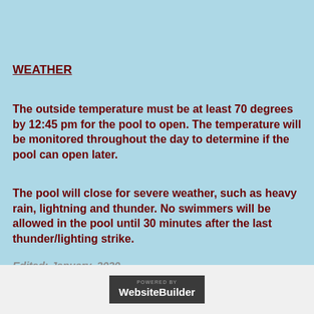WEATHER
The outside temperature must be at least 70 degrees by 12:45 pm for the pool to open. The temperature will be monitored throughout the day to determine if the pool can open later.
The pool will close for severe weather, such as heavy rain, lightning and thunder. No swimmers will be allowed in the pool until 30 minutes after the last thunder/lighting strike.
Edited: January, 2020
POWERED BY WebsiteBuilder